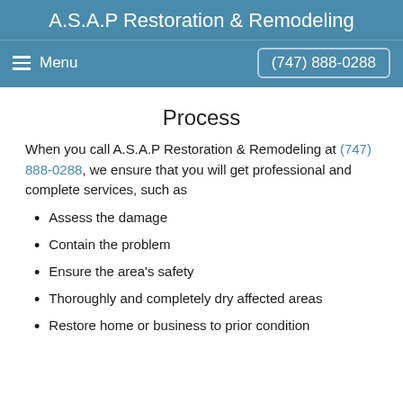A.S.A.P Restoration & Remodeling
Menu | (747) 888-0288
Process
When you call A.S.A.P Restoration & Remodeling at (747) 888-0288, we ensure that you will get professional and complete services, such as
Assess the damage
Contain the problem
Ensure the area's safety
Thoroughly and completely dry affected areas
Restore home or business to prior condition